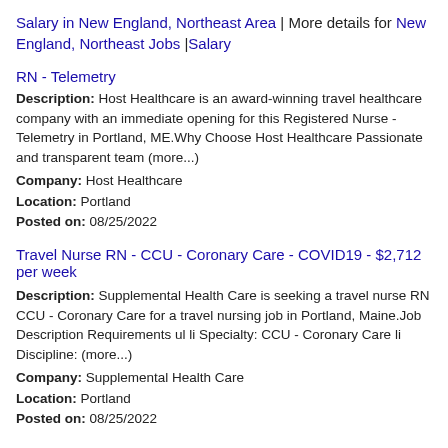Salary in New England, Northeast Area | More details for New England, Northeast Jobs |Salary
RN - Telemetry
Description: Host Healthcare is an award-winning travel healthcare company with an immediate opening for this Registered Nurse - Telemetry in Portland, ME.Why Choose Host Healthcare Passionate and transparent team (more...)
Company: Host Healthcare
Location: Portland
Posted on: 08/25/2022
Travel Nurse RN - CCU - Coronary Care - COVID19 - $2,712 per week
Description: Supplemental Health Care is seeking a travel nurse RN CCU - Coronary Care for a travel nursing job in Portland, Maine.Job Description Requirements ul li Specialty: CCU - Coronary Care li Discipline: (more...)
Company: Supplemental Health Care
Location: Portland
Posted on: 08/25/2022